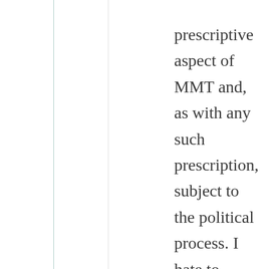prescriptive aspect of MMT and, as with any such prescription, subject to the political process. I hate to inform you of this, but even the President's prescription